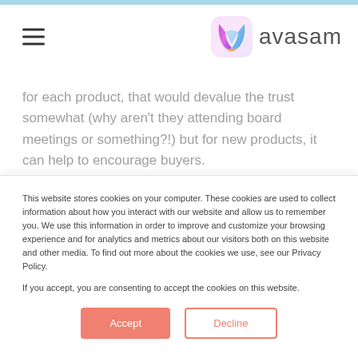avasam
for each product, that would devalue the trust somewhat (why aren't they attending board meetings or something?!) but for new products, it can help to encourage buyers.
Where the CEO makes a video talking about their company, they might reference some ethics or...
This website stores cookies on your computer. These cookies are used to collect information about how you interact with our website and allow us to remember you. We use this information in order to improve and customize your browsing experience and for analytics and metrics about our visitors both on this website and other media. To find out more about the cookies we use, see our Privacy Policy.

If you accept, you are consenting to accept the cookies on this website.
Accept
Decline